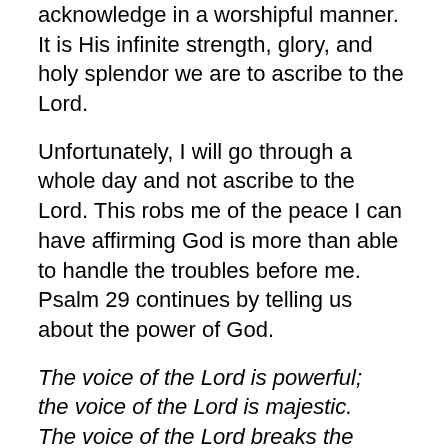acknowledge in a worshipful manner. It is His infinite strength, glory, and holy splendor we are to ascribe to the Lord.
Unfortunately, I will go through a whole day and not ascribe to the Lord. This robs me of the peace I can have affirming God is more than able to handle the troubles before me. Psalm 29 continues by telling us about the power of God.
The voice of the Lord is powerful;
the voice of the Lord is majestic.
The voice of the Lord breaks the cedars;
the Lord breaks in pieces the cedars of Lebanon. Psalm 29:4-5
It is normal to be anxious about things, but when I ascribe to the Lord His glory and power and strength, then I begin